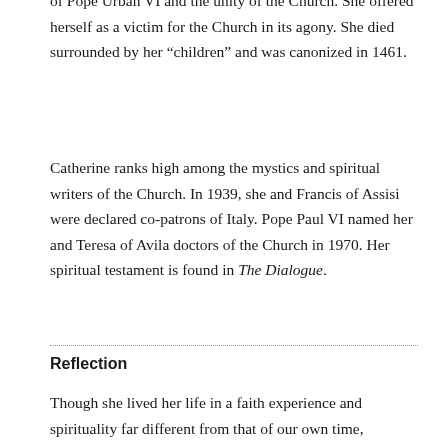of Pope Urban VI and the unity of the Church. She offered herself as a victim for the Church in its agony. She died surrounded by her “children” and was canonized in 1461.
Catherine ranks high among the mystics and spiritual writers of the Church. In 1939, she and Francis of Assisi were declared co-patrons of Italy. Pope Paul VI named her and Teresa of Avila doctors of the Church in 1970. Her spiritual testament is found in The Dialogue.
Reflection
Though she lived her life in a faith experience and spirituality far different from that of our own time, Catherine of Siena stands as a companion with us on